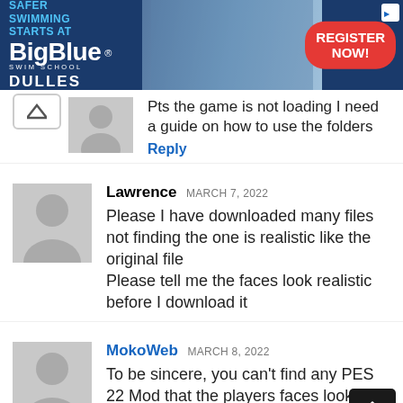[Figure (screenshot): BigBlue Swim School advertisement banner with blue background, logo, 'SAFER SWIMMING STARTS AT' and 'DULLES' text, photo of swim instructor with child, and red 'REGISTER NOW!' button]
Pts the game is not loading I need a guide on how to use the folders
Reply
Lawrence MARCH 7, 2022
Please I have downloaded many files not finding the one is realistic like the original file
Please tell me the faces look realistic before I download it
MokoWeb MARCH 8, 2022
To be sincere, you can't find any PES 22 Mod that the players faces look exactly and as realistic as the original